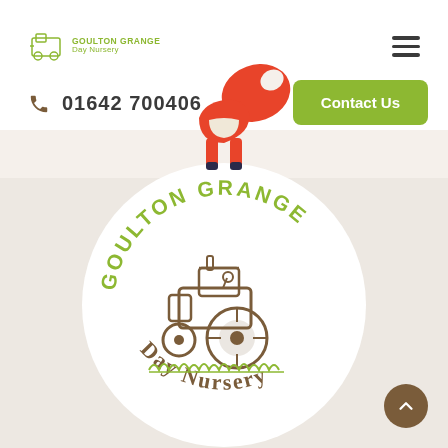GOULTON GRANGE Day Nursery
01642 700406
Contact Us
[Figure (illustration): Cartoon fox illustration showing the lower body and tail of a fox in orange and red, standing on the border between the white header and beige section]
[Figure (logo): Goulton Grange Day Nursery circular logo featuring a sketch-style tractor in brown, surrounded by the text GOULTON GRANGE curving along the top and Day Nursery along the bottom, with grass details at the bottom, on a white circular background]